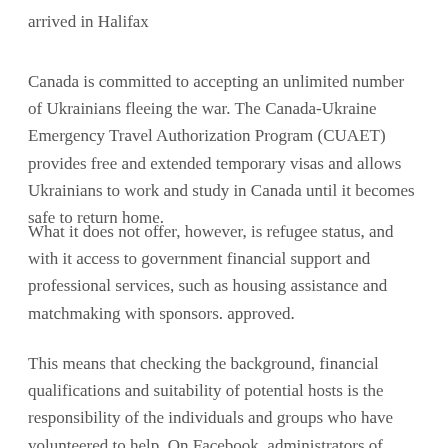arrived in Halifax
Canada is committed to accepting an unlimited number of Ukrainians fleeing the war. The Canada-Ukraine Emergency Travel Authorization Program (CUAET) provides free and extended temporary visas and allows Ukrainians to work and study in Canada until it becomes safe to return home.
What it does not offer, however, is refugee status, and with it access to government financial support and professional services, such as housing assistance and matchmaking with sponsors. approved.
This means that checking the background, financial qualifications and suitability of potential hosts is the responsibility of the individuals and groups who have volunteered to help. On Facebook, administrators of some pages offer advice, screen candidates and conduct periodic follow-ups after Ukrainians have been matched with Canadians who have offered space in